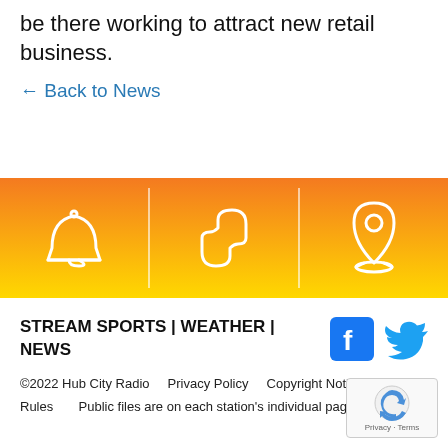be there working to attract new retail business.
← Back to News
[Figure (infographic): Orange-to-yellow gradient banner with three white icons separated by vertical lines: a bell (notifications), a phone handset, and a map location pin]
STREAM SPORTS | WEATHER | NEWS
[Figure (logo): Facebook and Twitter social media icon buttons]
©2022 Hub City Radio   Privacy Policy   Copyright Notice   Contest Rules   Public files are on each station's individual page.
[Figure (other): reCAPTCHA badge with Privacy · Terms text]